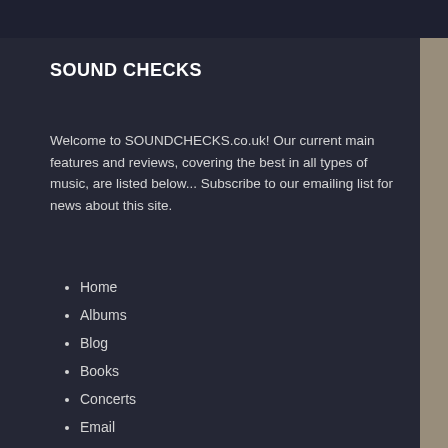SOUND CHECKS
Welcome to SOUNDCHECKS.co.uk! Our current main features and reviews, covering the best in all types of music, are listed below... Subscribe to our emailing list for news about this site.
Home
Albums
Blog
Books
Concerts
Email
Interviews
Profiles